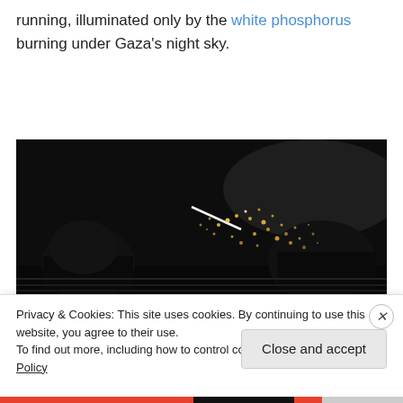running, illuminated only by the white phosphorus burning under Gaza's night sky.
[Figure (photo): Dark photograph showing silhouettes of people/figures against a dark sky, with a bright streak of white phosphorus burning, scattering golden sparks across the frame.]
Privacy & Cookies: This site uses cookies. By continuing to use this website, you agree to their use.
To find out more, including how to control cookies, see here: Cookie Policy
Close and accept